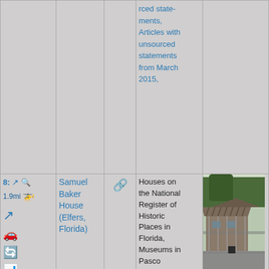| # | Name | Link | Categories | Image |
| --- | --- | --- | --- | --- |
|  |  |  | rced statements, Articles with unsourced statements from March 2015, |  |
| 8: 1.9mi | Samuel Baker House (Elfers, Florida) | 🔗 | Houses on the National Register of Historic Places in Florida, Museums in Pasco County, Florida, Historical society museums in Florida, Vernacular architecture in Florida, Historic house museums in Florida, Houses in |  |